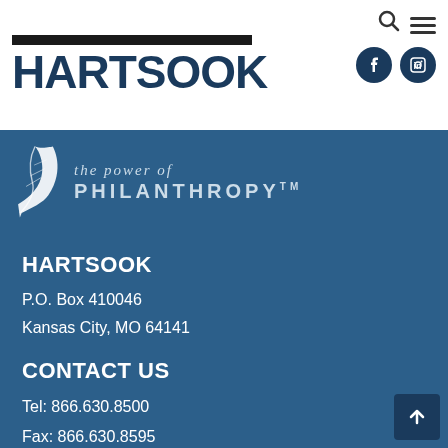[Figure (logo): Hartsook logo with black bar above bold dark blue HARTSOOK text]
[Figure (illustration): White feather logo with italic 'the power of' and bold 'PHILANTHROPY TM' text on dark blue background]
HARTSOOK
P.O. Box 410046
Kansas City, MO 64141
CONTACT US
Tel: 866.630.8500
Fax: 866.630.8595
Email Us: info@hartsook.com